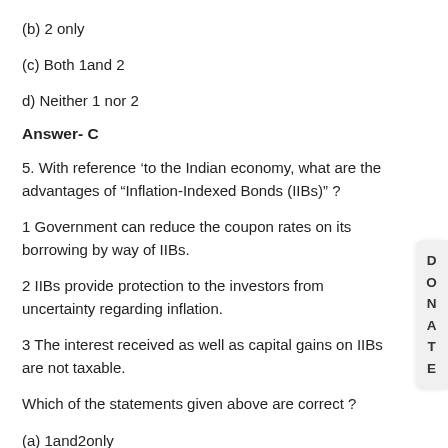(b) 2 only
(c) Both 1and 2
d) Neither 1 nor 2
Answer- C
5. With reference ‘to the Indian economy, what are the advantages of “Inflation-Indexed Bonds (IIBs)” ?
1 Government can reduce the coupon rates on its borrowing by way of IIBs.
2 IIBs provide protection to the investors from uncertainty regarding inflation.
3 The interest received as well as capital gains on IIBs are not taxable.
Which of the statements given above are correct ?
(a) 1and2only